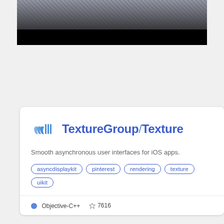[Figure (photo): Top image showing a crowd of people with a black bar overlay at the bottom]
[Figure (screenshot): GitHub repository card for TextureGroup/Texture showing logo, description, tags, language and star count]
[Figure (screenshot): Bottom dark screenshot showing code with #ifdef BACKGROUND and color.rgb += uv.y * 0.1 with a 3D scene on the right]